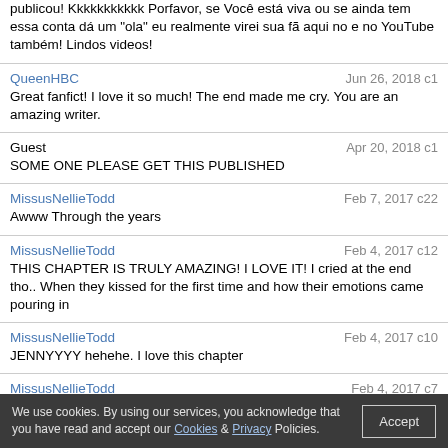publicou! Kkkkkkkkkkk Porfavor, se Você está viva ou se ainda tem essa conta dá um "ola" eu realmente virei sua fã aqui no e no YouTube também! Lindos videos!
QueenHBC · Jun 26, 2018 c1 · Great fanfict! I love it so much! The end made me cry. You are an amazing writer.
Guest · Apr 20, 2018 c1 · SOME ONE PLEASE GET THIS PUBLISHED
MissusNellieTodd · Feb 7, 2017 c22 · Awww Through the years
MissusNellieTodd · Feb 4, 2017 c12 · THIS CHAPTER IS TRULY AMAZING! I LOVE IT! I cried at the end tho.. When they kissed for the first time and how their emotions came pouring in
MissusNellieTodd · Feb 4, 2017 c10 · JENNYYYY hehehe. I love this chapter
MissusNellieTodd · Feb 4, 2017 c7 · OMG I LOVE THIS CHAPTER HAHAHAHHA. When they mentioned about Johnny Depp , Pirates of the Caribbean, Planet of the Apes, Tim Burton HAHHAHAH I LOVETT
CatOfManyTails · Jun 27, 2016 c13 · The Sweenett banter makes me smile.
We use cookies. By using our services, you acknowledge that you have read and accept our Cookies & Privacy Policies. Accept